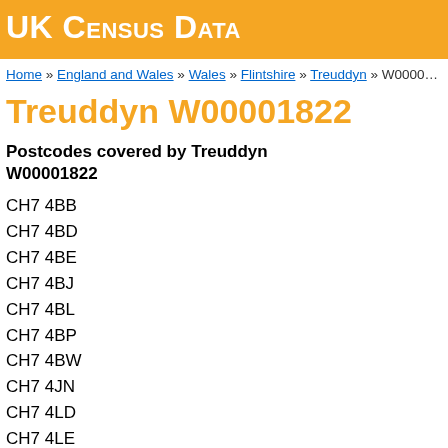UK Census Data
Home » England and Wales » Wales » Flintshire » Treuddyn » W0000...
Treuddyn W00001822
Postcodes covered by Treuddyn W00001822
CH7 4BB
CH7 4BD
CH7 4BE
CH7 4BJ
CH7 4BL
CH7 4BP
CH7 4BW
CH7 4JN
CH7 4LD
CH7 4LE
CH7 4LF
CH7 4LG
CH7 4LH
CH7 4LJ
CH7 4LL
CH7 4LQ